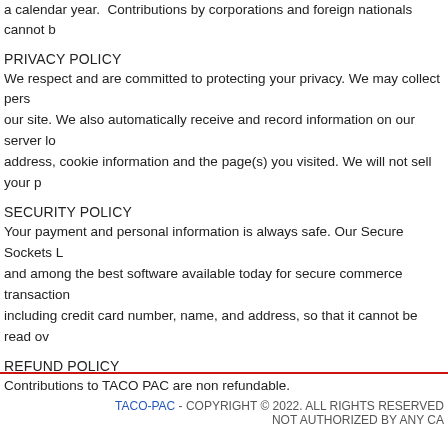a calendar year.  Contributions by corporations and foreign nationals cannot b
PRIVACY POLICY
We respect and are committed to protecting your privacy. We may collect pers our site. We also automatically receive and record information on our server lo address, cookie information and the page(s) you visited. We will not sell your p
SECURITY POLICY
Your payment and personal information is always safe. Our Secure Sockets L and among the best software available today for secure commerce transaction including credit card number, name, and address, so that it cannot be read ov
REFUND POLICY
Contributions to TACO PAC are non refundable.
TACO-PAC - COPYRIGHT © 2022. ALL RIGHTS RESERVED NOT AUTHORIZED BY ANY CA